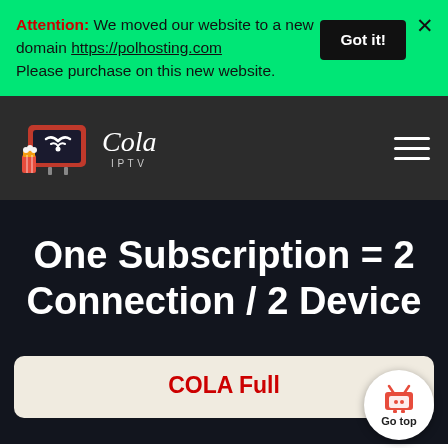Attention: We moved our website to a new domain https://polhosting.com Please purchase on this new website.
[Figure (screenshot): Got it! button (black rectangle) and X close button on green banner]
[Figure (logo): Cola IPTV logo with TV icon showing wifi symbol and popcorn, white Cola IPTV text, hamburger menu icon on dark navbar]
One Subscription = 2 Connection / 2 Device
[Figure (other): Partial card section with red COLA Full text at bottom, and a Go top button with TV icon]
COLA Full